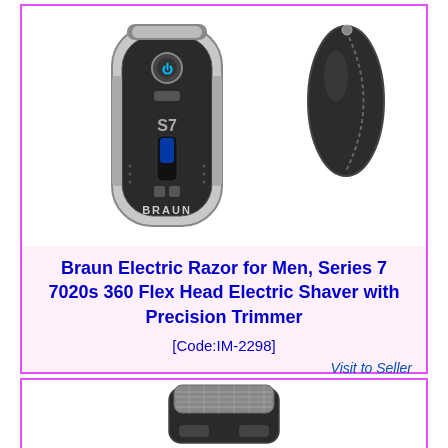[Figure (photo): Braun Series 7 electric shaver (silver/black) and black carrying case on white background]
Braun Electric Razor for Men, Series 7 7020s 360 Flex Head Electric Shaver with Precision Trimmer
[Code:IM-2298]
Visit to Seller
[Figure (photo): Braun electric shaver head/foil replacement unit, black, top view]